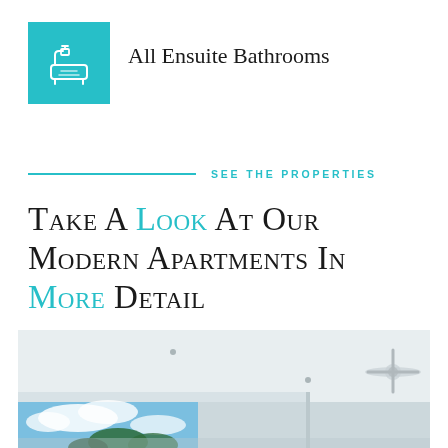[Figure (logo): Teal square icon box with a bathtub/bathroom icon in white outline]
All Ensuite Bathrooms
SEE THE PROPERTIES
Take A Look At Our Modern Apartments In More Detail
[Figure (photo): Interior photo of a modern apartment room with white ceiling, recessed lights, ceiling fan, and a window/balcony view showing blue sky, clouds, and tropical palm trees]